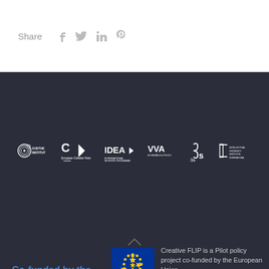Share
[Figure (logo): Social share icons: Facebook, Twitter, LinkedIn, Pinterest]
[Figure (logo): Partner logos row: Goethe Institut, Creative Hubs Network, IDEA, VVA Economics & Policy, 3s, Intellectual Property Institute]
[Figure (other): Upward caret arrow icon]
[Figure (logo): EU flag / European Union logo]
Co-funded by the European Union
Creative FLIP is a Pilot policy project co-funded by the European Union